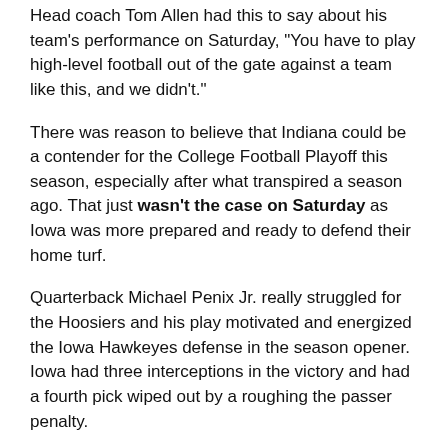Head coach Tom Allen had this to say about his team's performance on Saturday, "You have to play high-level football out of the gate against a team like this, and we didn't."
There was reason to believe that Indiana could be a contender for the College Football Playoff this season, especially after what transpired a season ago. That just wasn't the case on Saturday as Iowa was more prepared and ready to defend their home turf.
Quarterback Michael Penix Jr. really struggled for the Hoosiers and his play motivated and energized the Iowa Hawkeyes defense in the season opener. Iowa had three interceptions in the victory and had a fourth pick wiped out by a roughing the passer penalty.
Penix went just 14 of 31 for 156 yards in the loss on Saturday, and he never seemed to get comfortable against the aggressive Iowa defense. Running the football didn't go much better for the Hoosiers as they only managed a pair of field goals.